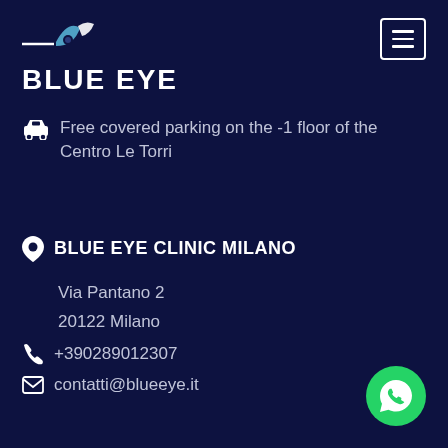[Figure (logo): Blue Eye clinic logo with stylized eye/sail icon and text BLUE EYE]
Free covered parking on the -1 floor of the Centro Le Torri
BLUE EYE CLINIC MILANO
Via Pantano 2
20122 Milano
+390289012307
contatti@blueeye.it
[Figure (logo): WhatsApp green circular button icon]